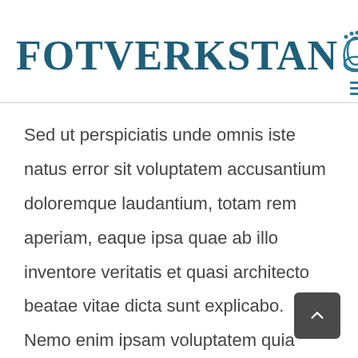[Figure (logo): Fotverkstan logo with foot icon in teal/dark blue color and hamburger menu icon]
Sed ut perspiciatis unde omnis iste natus error sit voluptatem accusantium doloremque laudantium, totam rem aperiam, eaque ipsa quae ab illo inventore veritatis et quasi architecto beatae vitae dicta sunt explicabo. Nemo enim ipsam voluptatem quia voluptas sit